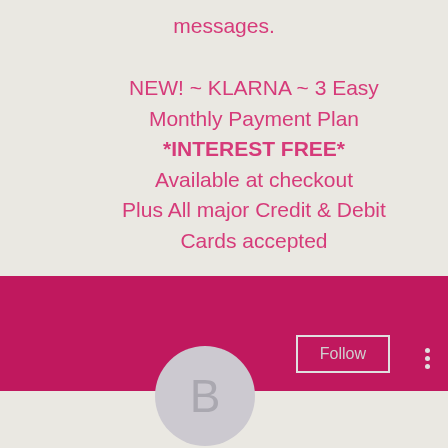messages.
NEW! ~ KLARNA ~ 3 Easy
Monthly Payment Plan
*INTEREST FREE*
Available at checkout
Plus All major Credit & Debit
Cards accepted
[Figure (screenshot): Social media profile banner with magenta/pink background, circular avatar with letter B, Follow button, and three-dot menu]
Bitstarz free spins, bitstarz login au...
0 Followers • 0 Following